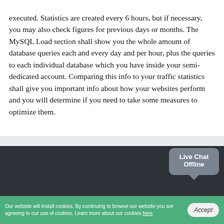executed. Statistics are created every 6 hours, but if necessary, you may also check figures for previous days or months. The MySQL Load section shall show you the whole amount of database queries each and every day and per hour, plus the queries to each individual database which you have inside your semi-dedicated account. Comparing this info to your traffic statistics shall give you important info about how your websites perform and you will determine if you need to take some measures to optimize them.
About Us
About Us
Contacts
Why Us
[Figure (other): Live Chat Offline popup bubble widget in grey]
Our website will install cookies. By continuing to browse our website you are agreeing to our use of cookies. Learn more about our cookies here.